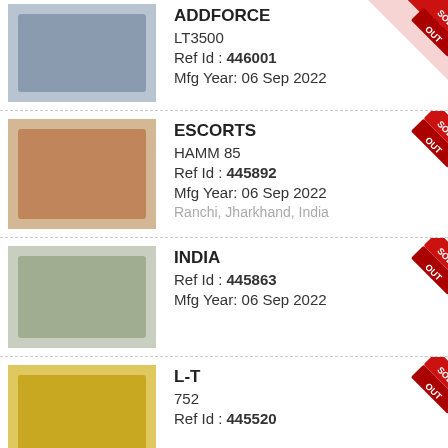[Figure (photo): Construction machine / concrete mixer truck photo]
ADDFORCE
LT3500
Ref Id : 446001
Mfg Year: 06 Sep 2022
[Figure (photo): Road roller / compactor machine photo]
ESCORTS
HAMM 85
Ref Id : 445892
Mfg Year: 06 Sep 2022
Ranchi, Jharkhand, India
[Figure (photo): Excavator / tracked machine photo]
INDIA
Ref Id : 445863
Mfg Year: 06 Sep 2022
[Figure (photo): Yellow road roller machine photo]
L-T
752
Ref Id : 445520